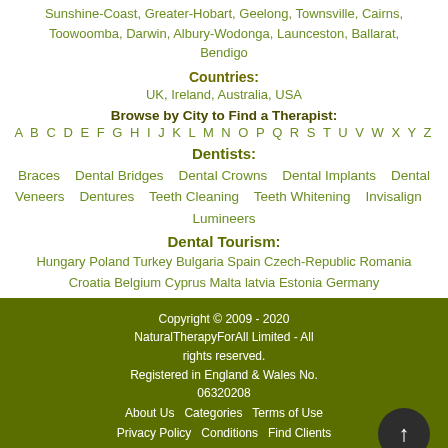Sunshine-Coast, Greater-Hobart, Geelong, Townsville, Cairns, Toowoomba, Darwin, Albury-Wodonga, Launceston, Ballarat, Bendigo
Countries:
UK, Ireland, Australia, USA
Browse by City to Find a Therapist:
A B C D E F G H I J K L M N O P Q R S T U V W X Y Z
Dentists:
Braces   Dental Bridges   Dental Crowns   Dental Implants   Dental Veneers   Dentures   Teeth Cleaning   Teeth Whitening   Invisalign   Lumineers
Dental Tourism:
Hungary Poland Turkey Bulgaria Spain Czech-Republic Romania Croatia Belgium Cyprus Malta latvia Estonia Germany
Copyright © 2009 - 2020 NaturalTherapyForAll Limited - All rights reserved. Registered in England & Wales No. 06320208
About Us   Categories   Terms of Use
Privacy Policy   Conditions   Find Clients
Sitemap   Blog   Event